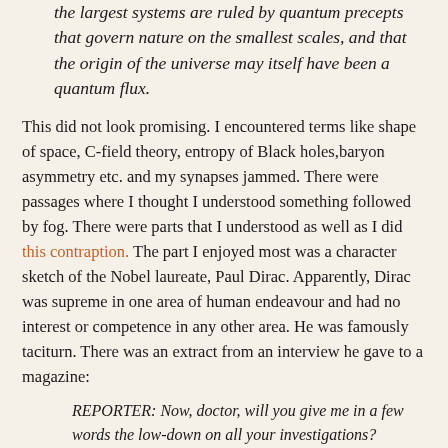the largest systems are ruled by quantum precepts that govern nature on the smallest scales, and that the origin of the universe may itself have been a quantum flux.
This did not look promising. I encountered terms like shape of space, C-field theory, entropy of Black holes,baryon asymmetry etc. and my synapses jammed. There were passages where I thought I understood something followed by fog. There were parts that I understood as well as I did this contraption. The part I enjoyed most was a character sketch of the Nobel laureate, Paul Dirac. Apparently, Dirac was supreme in one area of human endeavour and had no interest or competence in any other area. He was famously taciturn. There was an extract from an interview he gave to a magazine:
REPORTER: Now, doctor, will you give me in a few words the low-down on all your investigations? DIRAC: No. REPORTER: Will it be right if I put it this way - "Professor Dirac solves all the problems of mathematical physics, but is unable to find a better way of figuring out Babe Ruth's batting average"?